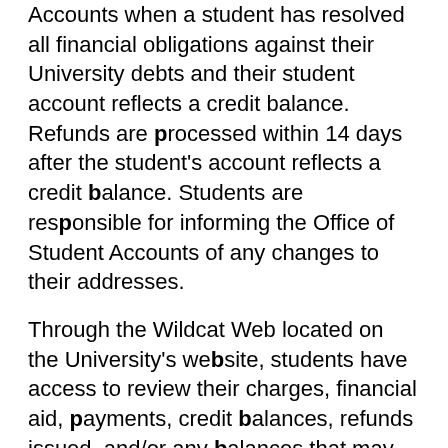Accounts when a student has resolved all financial obligations against their University debts and their student account reflects a credit balance. Refunds are processed within 14 days after the student's account reflects a credit balance. Students are responsible for informing the Office of Student Accounts of any changes to their addresses.
Through the Wildcat Web located on the University's website, students have access to review their charges, financial aid, payments, credit balances, refunds issued, and/or any balances that may be due. If a student visits the Office of Student Accounts and requests information about his/her account, the student must present university issued identification or another form of picture identification.
Following the full payment of tuition, fees, and other expenses, Bethune-Cookman University will refund excess payments (excluding any non-